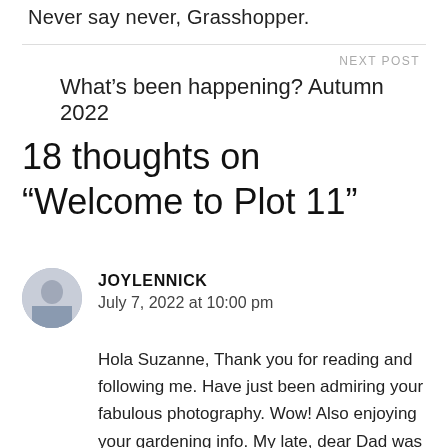Never say never, Grasshopper.
NEXT POST
What's been happening? Autumn 2022
18 thoughts on “Welcome to Plot 11”
JOYLENNICK
July 7, 2022 at 10:00 pm
Hola Suzanne, Thank you for reading and following me. Have just been admiring your fabulous photography. Wow! Also enjoying your gardening info. My late, dear Dad was a fervent gardener. Our mini acre was crammed with peas, runner beans, carrots, tomatoes,